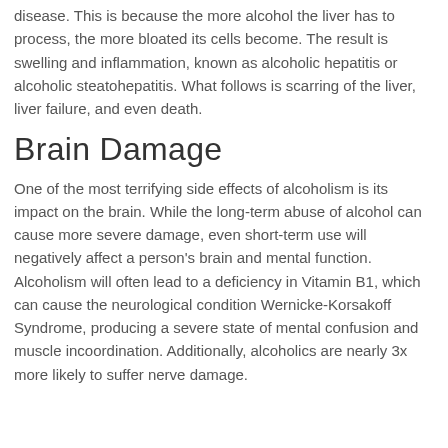disease. This is because the more alcohol the liver has to process, the more bloated its cells become. The result is swelling and inflammation, known as alcoholic hepatitis or alcoholic steatohepatitis. What follows is scarring of the liver, liver failure, and even death.
Brain Damage
One of the most terrifying side effects of alcoholism is its impact on the brain. While the long-term abuse of alcohol can cause more severe damage, even short-term use will negatively affect a person's brain and mental function. Alcoholism will often lead to a deficiency in Vitamin B1, which can cause the neurological condition Wernicke-Korsakoff Syndrome, producing a severe state of mental confusion and muscle incoordination. Additionally, alcoholics are nearly 3x more likely to suffer nerve damage.